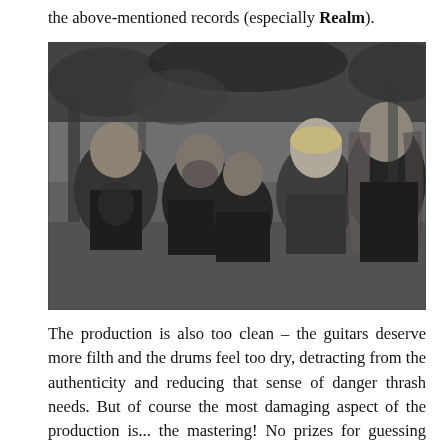the above-mentioned records (especially Realm).
[Figure (photo): Black and white group photo of five people (a band) standing outdoors in front of trees. From left to right: a person in a black metal band t-shirt, a bearded person, a shorter person, a blond person, and a taller person with long hair on the right.]
The production is also too clean – the guitars deserve more filth and the drums feel too dry, detracting from the authenticity and reducing that sense of danger thrash needs. But of course the most damaging aspect of the production is... the mastering! No prizes for guessing that